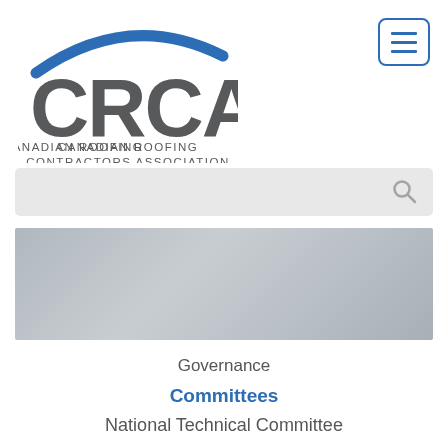[Figure (logo): CRCA - Canadian Roofing Contractors Association logo with blue arc above grey CRCA lettering]
[Figure (screenshot): Hamburger menu button with three horizontal blue lines inside a blue rounded rectangle border]
[Figure (screenshot): Search bar with light grey background and search icon on right]
[Figure (photo): Grey banner/hero image area]
Governance
Committees
National Technical Committee